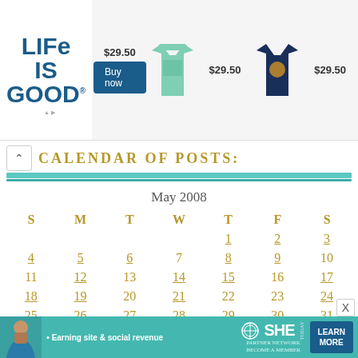[Figure (other): Life is Good brand advertisement banner with two t-shirts priced at $29.50 each and a Buy now button]
CALENDAR OF POSTS:
| S | M | T | W | T | F | S |
| --- | --- | --- | --- | --- | --- | --- |
|  |  |  |  | 1 | 2 | 3 |
| 4 | 5 | 6 | 7 | 8 | 9 | 10 |
| 11 | 12 | 13 | 14 | 15 | 16 | 17 |
| 18 | 19 | 20 | 21 | 22 | 23 | 24 |
| 25 | 26 | 27 | 28 | 29 | 30 | 31 |
[Figure (other): SHE Partner Network advertisement banner with a woman and Learn More button]